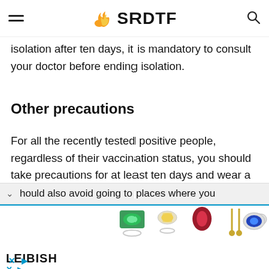SRDTF
isolation after ten days, it is mandatory to consult your doctor before ending isolation.
Other precautions
For all the recently tested positive people, regardless of their vaccination status, you should take precautions for at least ten days and wear a full-fitted mask for the whole ten days.
hould also avoid going to places where you
[Figure (photo): LEIBISH jewelry advertisement showing gemstone rings, earrings and other jewelry pieces including emerald, yellow diamond, ruby, and sapphire items.]